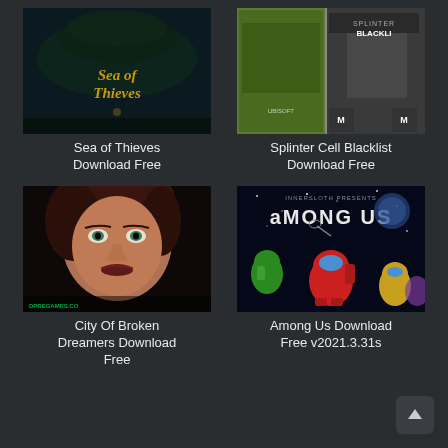[Figure (screenshot): Sea of Thieves game cover art with stylized gold text on dark ocean/pirate theme background]
Sea of Thieves Download Free
[Figure (screenshot): Splinter Cell Blacklist game box art showing game case with character and ESRB rating]
Splinter Cell Blacklist Download Free
[Figure (screenshot): City of Broken Dreamers game art showing a 3D rendered woman's face with brown hair and green eyes, with DPREGAMES.CO watermark]
City Of Broken Dreamers Download Free
[Figure (screenshot): Among Us game poster with Innersloth Presents text, space background, and colorful crewmate characters]
Among Us Download Free v2021.3.31s